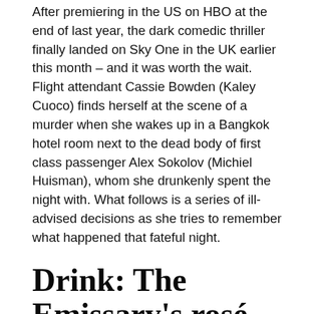After premiering in the US on HBO at the end of last year, the dark comedic thriller finally landed on Sky One in the UK earlier this month – and it was worth the wait. Flight attendant Cassie Bowden (Kaley Cuoco) finds herself at the scene of a murder when she wakes up in a Bangkok hotel room next to the dead body of first class passenger Alex Sokolov (Michiel Huisman), whom she drunkenly spent the night with. What follows is a series of ill-advised decisions as she tries to remember what happened that fateful night.
Drink: The Emissary's rosé prosecco
[Figure (photo): A partially visible photograph showing what appears to be bottles or glassware, styled in warm beige and tan tones, partially cut off at the bottom of the page.]